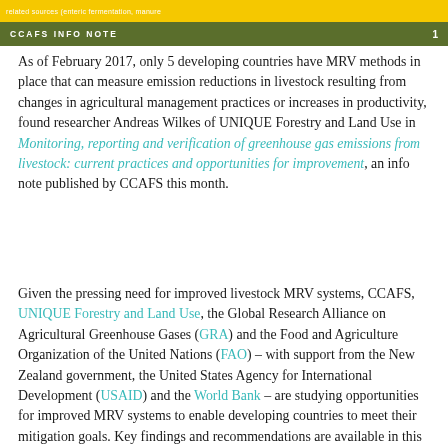CCAFS INFO NOTE  1
As of February 2017, only 5 developing countries have MRV methods in place that can measure emission reductions in livestock resulting from changes in agricultural management practices or increases in productivity, found researcher Andreas Wilkes of UNIQUE Forestry and Land Use in Monitoring, reporting and verification of greenhouse gas emissions from livestock: current practices and opportunities for improvement, an info note published by CCAFS this month.
Given the pressing need for improved livestock MRV systems, CCAFS, UNIQUE Forestry and Land Use, the Global Research Alliance on Agricultural Greenhouse Gases (GRA) and the Food and Agriculture Organization of the United Nations (FAO) – with support from the New Zealand government, the United States Agency for International Development (USAID) and the World Bank – are studying opportunities for improved MRV systems to enable developing countries to meet their mitigation goals. Key findings and recommendations are available in this info note; and a full